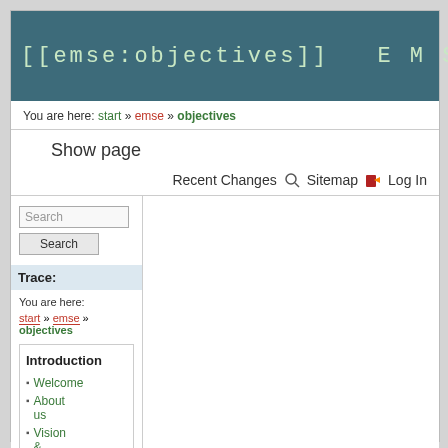[[emse:objectives]]  E M S E - W E B S I T E
You are here: start » emse » objectives
Show page
Recent Changes  Sitemap  Log In
Search
Trace:
You are here:
start » emse » objectives
Introduction
Welcome
About us
Vision &